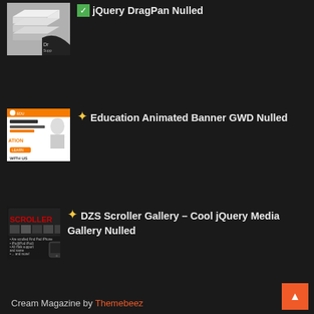jQuery DragPan Nulled
Education Animated Banner GWD Nulled
DZS Scroller Gallery – Cool jQuery Media Gallery Nulled
Cream Magazine by Themebeez